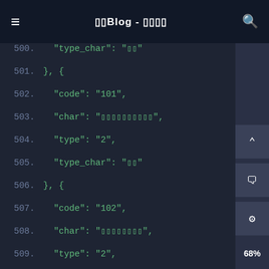☰  □□Blog - □□□□  🔍
[Figure (screenshot): Dark-themed code editor showing JSON data lines 501-519 with line numbers in gray and code content in green monospace font. Contains JSON object entries with 'code', 'char', 'type', and 'type_char' keys. Values include '101', '102', '103', '104' for code fields and '2' for type fields.]